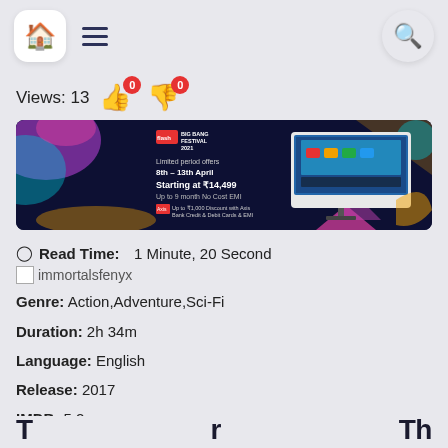Navigation bar with home, menu, and search icons
Views: 13 👍 0 👎 0
[Figure (photo): Advertisement banner for a TV sale: Limited period offers 8th–13th April, Starting at ₹14,499, Up to 9 month No Cost EMI, with Axis Bank offer. Shows a TV display on the right side.]
⊙ Read Time: 1 Minute, 20 Second
immortalsfenyx
Genre: Action,Adventure,Sci-Fi
Duration: 2h 34m
Language: English
Release: 2017
IMDB: 5.2